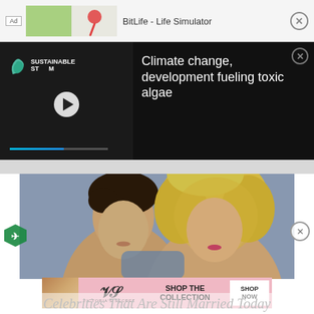[Figure (screenshot): Mobile ad banner for BitLife - Life Simulator app at top of page]
[Figure (screenshot): Video player showing Sustainable Stream content with title 'Climate change, development fueling toxic algae' on dark background with close button]
[Figure (photo): Photo of young couple, male with dark hair on left, female with curly blonde hair on right, against gray-blue background]
[Figure (screenshot): Victoria's Secret advertisement banner: 'SHOP THE COLLECTION' with SHOP NOW button]
Celebrities That Are Still Married Today